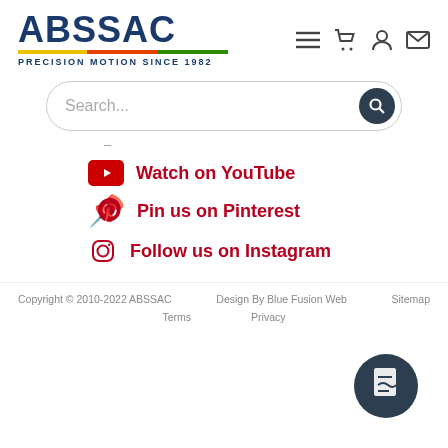[Figure (logo): ABSSAC logo with blue text, colored bar, and 'PRECISION MOTION SINCE 1982' tagline]
[Figure (infographic): Header navigation icons: hamburger menu, shopping cart, user account, email]
[Figure (infographic): Search bar with dark circular search button]
Watch on YouTube
Pin us on Pinterest
Follow us on Instagram
Copyright © 2010-2022 ABSSAC   Design By Blue Fusion Web   Sitemap   Terms   Privacy
[Figure (infographic): Floating action button with document/chart icon]